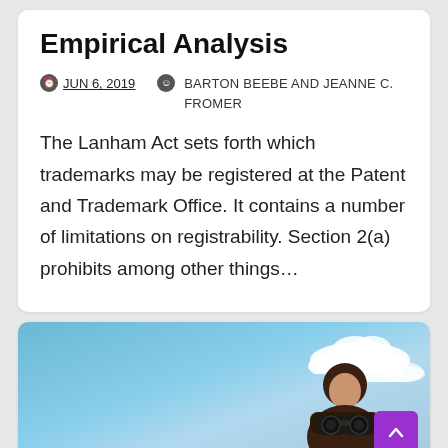Empirical Analysis
JUN 6, 2019  BARTON BEEBE AND JEANNE C. FROMER
The Lanham Act sets forth which trademarks may be registered at the Patent and Trademark Office. It contains a number of limitations on registrability. Section 2(a) prohibits among other things…
[Figure (photo): A person holding binoculars against a blue sky with white clouds, partially cropped at the bottom of the card.]